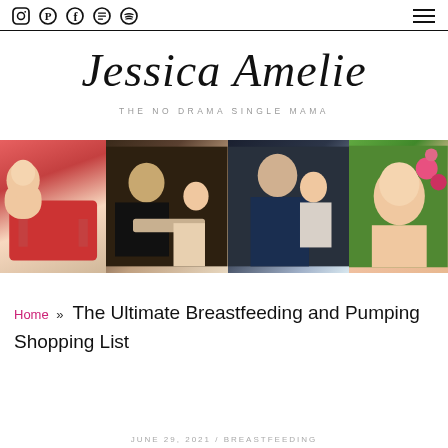Social icons: Instagram, Pinterest, Facebook, Newsletter, Spotify | Hamburger menu
Jessica Amelie
THE NO DRAMA SINGLE MAMA
[Figure (photo): Four-panel photo strip: (1) toddler girl sitting in red chair smiling, (2) mother with glasses and toddler at table with cake/birthday scene, (3) bald man in navy polo holding a toddler, (4) close-up of toddler girl with flowers in background]
Home » The Ultimate Breastfeeding and Pumping Shopping List
JUNE 29, 2021 / BREASTFEEDING